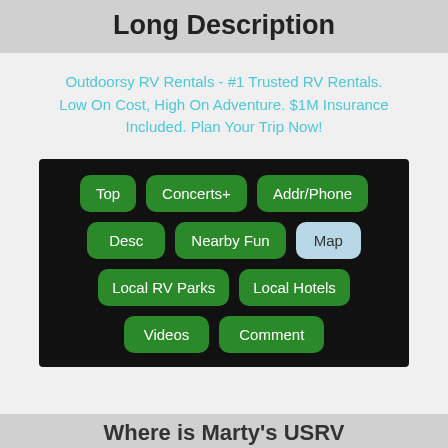Long Description
Outdoorsy RV Rentals - #1 Trusted RV Rentals. Low On Cost, High On Adventure. $1M Insurance Included. Plan Your Trip Now!
[Figure (screenshot): Navigation button panel on dark background with green rounded buttons: Top, Concerts+, Addr/Phone, Desc, Nearby Fun, Map (highlighted in light blue), Local RV Parks, Local Hotels, Videos, Comment]
Where is Marty's USRV